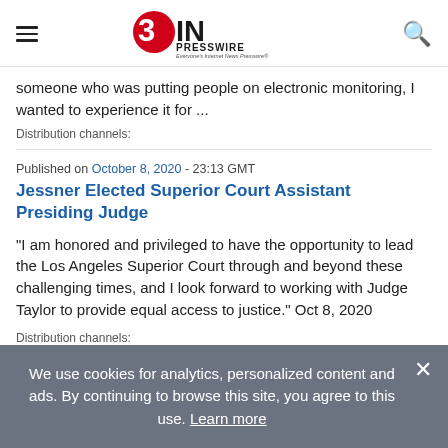EIN PRESSWIRE - Everyone's Internet News Presswire
someone who was putting people on electronic monitoring, I wanted to experience it for ...
Distribution channels:
Published on October 8, 2020 - 23:13 GMT
Jessner Elected Superior Court Assistant Presiding Judge
"I am honored and privileged to have the opportunity to lead the Los Angeles Superior Court through and beyond these challenging times, and I look forward to working with Judge Taylor to provide equal access to justice." Oct 8, 2020
Distribution channels:
We use cookies for analytics, personalized content and ads. By continuing to browse this site, you agree to this use. Learn more